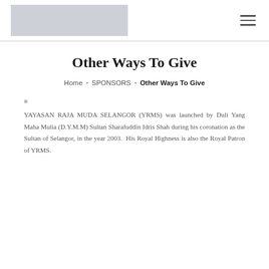[Figure (logo): Gray placeholder rectangle representing organization logo]
Other Ways To Give
Home ▸ SPONSORS ▸ Other Ways To Give
YAYASAN RAJA MUDA SELANGOR (YRMS) was launched by Duli Yang Maha Mulia (D.Y.M.M) Sultan Sharafuddin Idris Shah during his coronation as the Sultan of Selangor, in the year 2003. His Royal Highness is also the Royal Patron of YRMS.